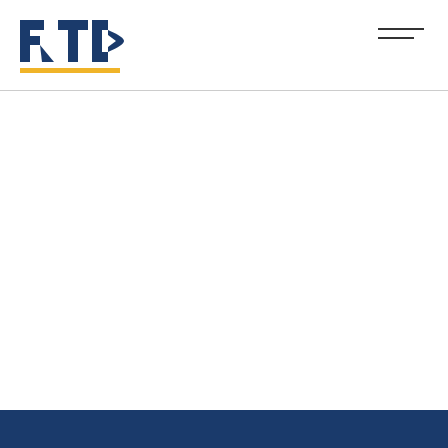[Figure (logo): RTD (Regional Transportation District) logo — bold blue letters R, T, D with a triangular arrow shape, underlined with a yellow/gold horizontal bar]
[Figure (other): Hamburger menu icon — two horizontal dark lines of slightly different lengths, representing a navigation toggle button]